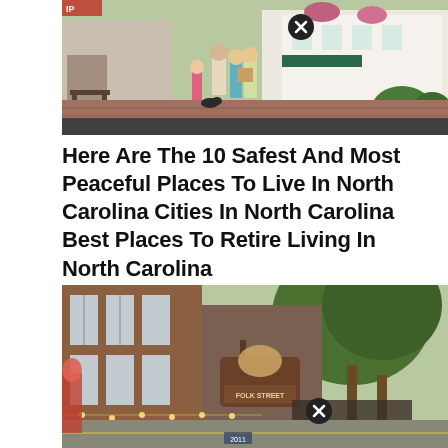[Figure (photo): Street scene with people standing outside shops on a brick sidewalk with a small dog. A close button (X circle) is overlaid near the top center.]
Here Are The 10 Safest And Most Peaceful Places To Live In North Carolina Cities In North Carolina Best Places To Retire Living In North Carolina
[Figure (photo): Downtown street scene with brick buildings, storefronts with hanging signs, and large trees. A close button (X circle) is overlaid near the bottom center.]